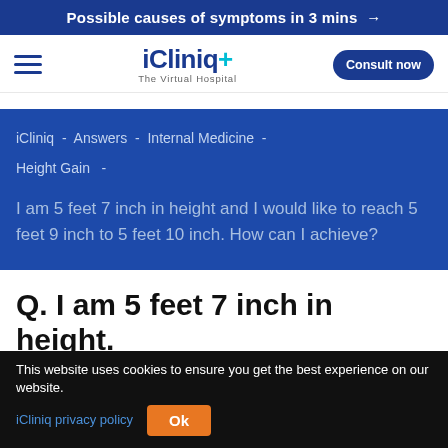Possible causes of symptoms in 3 mins →
[Figure (logo): iCliniq+ The Virtual Hospital logo with hamburger menu and Consult now button]
iCliniq  -  Answers  -  Internal Medicine  -
Height Gain  -
I am 5 feet 7 inch in height and I would like to reach 5 feet 9 inch to 5 feet 10 inch. How can I achieve?
Q. I am 5 feet 7 inch in height.
Kindly advise...
This website uses cookies to ensure you get the best experience on our website. iCliniq privacy policy  Ok